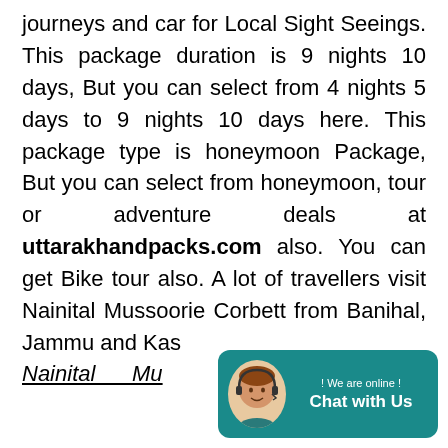journeys and car for Local Sight Seeings. This package duration is 9 nights 10 days, But you can select from 4 nights 5 days to 9 nights 10 days here. This package type is honeymoon Package, But you can select from honeymoon, tour or adventure deals at uttarakhandpacks.com also. You can get Bike tour also. A lot of travellers visit Nainital Mussoorie Corbett from Banihal, Jammu and Kas
Nainital    Mu
[Figure (other): Chat widget with headset avatar, '! We are online !' text and 'Chat with Us' button on teal background]